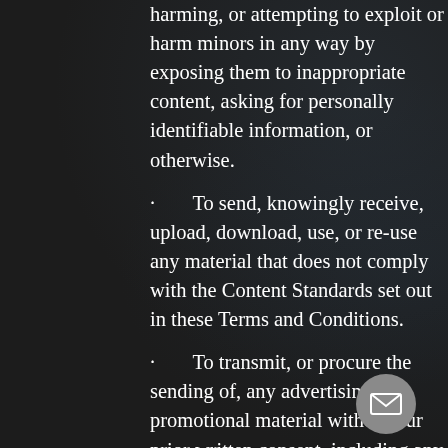harming, or attempting to exploit or harm minors in any way by exposing them to inappropriate content, asking for personally identifiable information, or otherwise.
To send, knowingly receive, upload, download, use, or re-use any material that does not comply with the Content Standards set out in these Terms and Conditions.
To transmit, or procure the sending of, any advertising or promotional material without our prior written consent, including any "junk mail," "chain letter," "spam," or any other similar solicitation.
To impersonate or attempt to impersonate the Company, a Company employee, another user, or any other person or entity (including, without limitation, by using email addresses or screen names associated with any of the forego
To engage in any other conduct